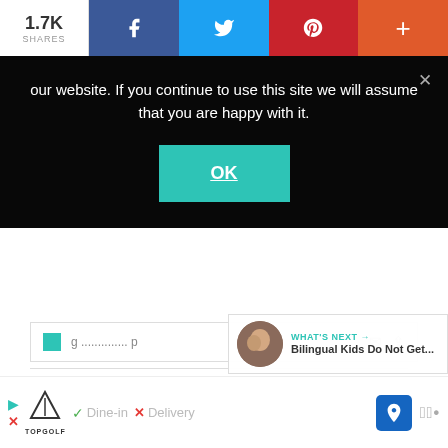[Figure (screenshot): Social media share bar with count 1.7K shares, Facebook, Twitter, Pinterest, and plus buttons]
our website. If you continue to use this site we will assume that you are happy with it.
[Figure (screenshot): OK button for cookie consent overlay]
[Figure (screenshot): Partially visible post card with teal block icon and share/comment icons]
[Figure (screenshot): Heart/like button with count 2 and share icon on right side]
[Figure (photo): Baby in floral onesie with black plush bear toy on a white chair, beside books]
WHAT'S NEXT → Bilingual Kids Do Not Get...
[Figure (screenshot): Advertisement bar with Topgolf logo, Dine-in checkmark, Delivery X, map icon, and WW logo]